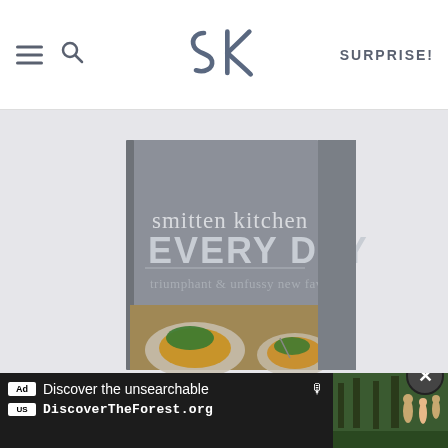Smitten Kitchen website header with hamburger menu, search icon, SK logo, and SURPRISE! navigation link
[Figure (photo): Book cover of 'Smitten Kitchen Every Day: triumphant & unfussy new favorites' — a gray hardcover book showing two plates of golden potato latkes topped with green herbs/salad on a gray background]
[Figure (screenshot): Advertisement banner at bottom: 'Discover the unsearchable' with DiscoverTheForest.org URL, showing people hiking in a forest on the right side. Close button (X) in top-right corner of ad.]